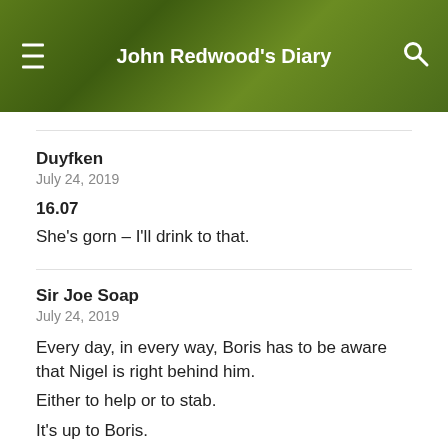John Redwood's Diary
Duyfken
July 24, 2019
16.07
She's gorn – I'll drink to that.
Sir Joe Soap
July 24, 2019
Every day, in every way, Boris has to be aware that Nigel is right behind him.
Either to help or to stab.
It's up to Boris.